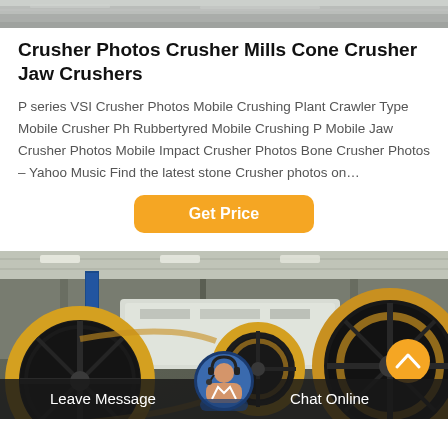[Figure (photo): Top partial industrial machinery photo strip]
Crusher Photos Crusher Mills Cone Crusher Jaw Crushers
P series VSI Crusher Photos Mobile Crushing Plant Crawler Type Mobile Crusher Ph Rubbertyred Mobile Crushing P Mobile Jaw Crusher Photos Mobile Impact Crusher Photos Bone Crusher Photos – Yahoo Music Find the latest stone Crusher photos on…
[Figure (other): Get Price button (orange rounded rectangle)]
[Figure (photo): Industrial crusher machinery in factory warehouse, large machinery with yellow and black wheel pulleys]
Leave Message  Chat Online